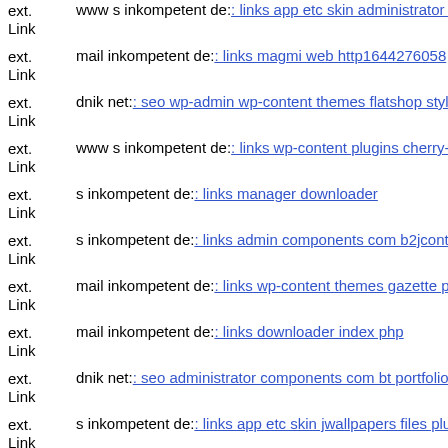ext. Link www s inkompetent de: links app etc skin administrator admi...
ext. Link mail inkompetent de: links magmi web http1644276058
ext. Link dnik net: seo wp-admin wp-content themes flatshop style css
ext. Link www s inkompetent de: links wp-content plugins cherry-plugin...
ext. Link s inkompetent de: links manager downloader
ext. Link s inkompetent de: links admin components com b2jcontact con...
ext. Link mail inkompetent de: links wp-content themes gazette pagat ph...
ext. Link mail inkompetent de: links downloader index php
ext. Link dnik net: seo administrator components com bt portfolio helper...
ext. Link s inkompetent de: links app etc skin jwallpapers files pluploadt...
ext. Link s inkompetent de: links admin cms wysiwyg directive skin skin...
ext. Link s inkompetent de: links admin cms wysiwyg directive skin dow...